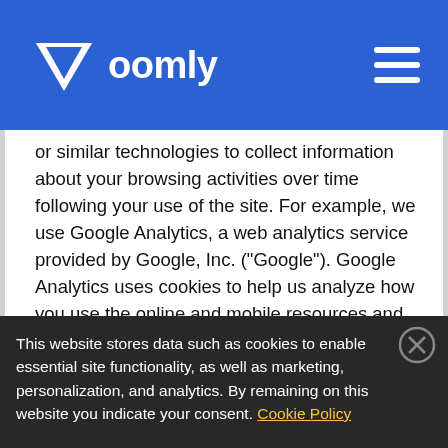Voomly
or similar technologies to collect information about your browsing activities over time following your use of the site. For example, we use Google Analytics, a web analytics service provided by Google, Inc. ("Google"). Google Analytics uses cookies to help us analyze how you use the online and mobile resources and enhance your experience when you visit the online and mobile resources. For
This website stores data such as cookies to enable essential site functionality, as well as marketing, personalization, and analytics. By remaining on this website you indicate your consent. Cookie Policy